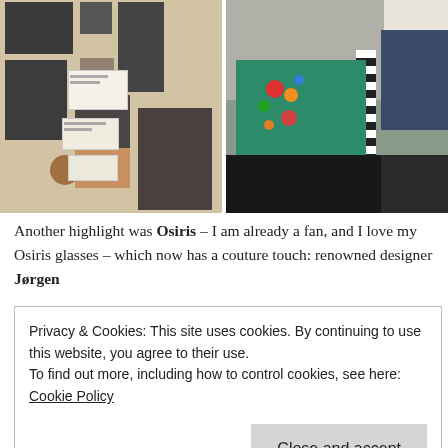[Figure (photo): Left half: a mood board / collage with black-and-white fashion photographs, sketches, and handwritten notes labelled 'Osiris by Jorgen'. Right half: fashion fabric swatches including a teal embroidered piece with floral motifs, black velvet fabric, a textured grey knit, and a striped ribbon.]
Another highlight was Osiris – I am already a fan, and I love my Osiris glasses – which now has a couture touch: renowned designer Jørgen
Privacy & Cookies: This site uses cookies. By continuing to use this website, you agree to their use.
To find out more, including how to control cookies, see here: Cookie Policy
Close and accept
playing with bold colours and textures inspired by nature. I had a